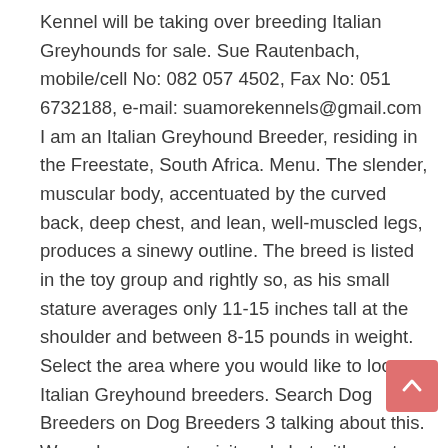Kennel will be taking over breeding Italian Greyhounds for sale. Sue Rautenbach, mobile/cell No: 082 057 4502, Fax No: 051 6732188, e-mail: suamorekennels@gmail.com I am an Italian Greyhound Breeder, residing in the Freestate, South Africa. Menu. The slender, muscular body, accentuated by the curved back, deep chest, and lean, well-muscled legs, produces a sinewy outline. The breed is listed in the toy group and rightly so, as his small stature averages only 11-15 inches tall at the shoulder and between 8-15 pounds in weight. Select the area where you would like to locate Italian Greyhound breeders. Search Dog Breeders on Dog Breeders 3 talking about this. We welcome you to visit and chat with us at There is some difference of opinion as to whether he was originally bred for hunting small game or was meant to be simply a pet and companion. Italian Greyhound Louie 1, italian greyhound stevie 1 and Italian Greyhound Ella. Find the dog breed that is right for you. J... As a family we have been owned